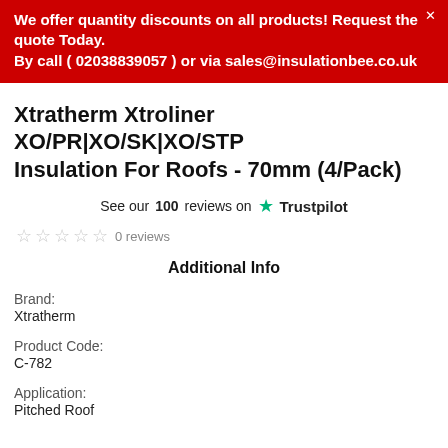We offer quantity discounts on all products! Request the quote Today.
By call ( 02038839057 ) or via sales@insulationbee.co.uk
Xtratherm Xtroliner XO/PR|XO/SK|XO/STP Insulation For Roofs - 70mm (4/Pack)
See our 100 reviews on ★ Trustpilot
☆ ☆ ☆ ☆ ☆ 0 reviews
Additional Info
Brand:
Xtratherm
Product Code:
C-782
Application:
Pitched Roof